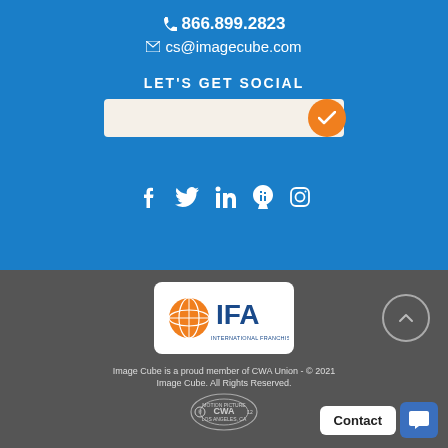866.899.2823
cs@imagecube.com
LET'S GET SOCIAL
[Figure (other): Email input bar with orange checkmark button]
[Figure (other): Social media icons: Facebook, Twitter, LinkedIn, Yelp, Instagram]
[Figure (logo): IFA International Franchise Association logo]
[Figure (other): Back to top circular arrow button]
Image Cube is a proud member of CWA Union - © 2021
Image Cube. All Rights Reserved.
[Figure (logo): CWA Union Label circular badge]
Contact